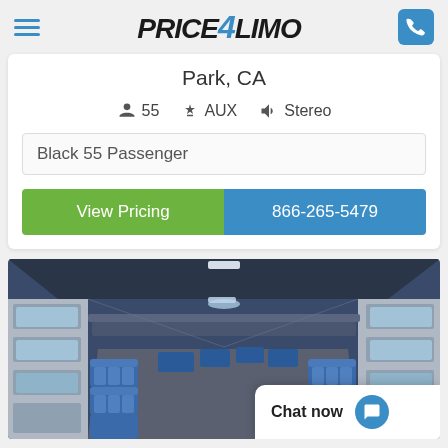Price4Limo
Park, CA
55  AUX  Stereo
Black 55 Passenger
View Pricing
866-265-5479
[Figure (photo): Interior of a 55-passenger charter bus showing rows of blue seats, overhead luggage racks, and windows along both sides]
Chat now